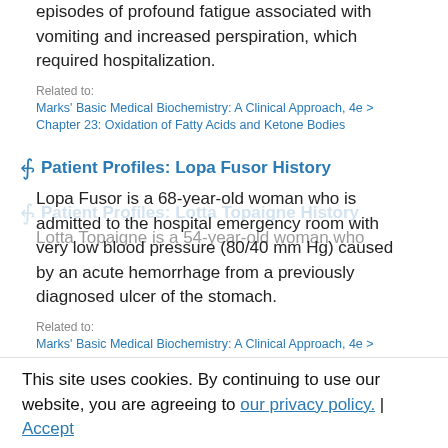episodes of profound fatigue associated with vomiting and increased perspiration, which required hospitalization.
Related to:
Marks' Basic Medical Biochemistry: A Clinical Approach, 4e > Chapter 23: Oxidation of Fatty Acids and Ketone Bodies
Patient Profiles: Lopa Fusor History
Lopa Fusor is a 68-year-old woman who is admitted to the hospital emergency room with very low blood pressure (80/40 mm Hg) caused by an acute hemorrhage from a previously diagnosed ulcer of the stomach.
Related to:
Marks' Basic Medical Biochemistry: A Clinical Approach, 4e > Chapter 22: Generation of Adenosine Triphosphate from Glucose
Patient Profiles: Lotta Topaigne History
Lotta Topaigne is a 54-year-old woman who...
This site uses cookies. By continuing to use our website, you are agreeing to our privacy policy. | Accept